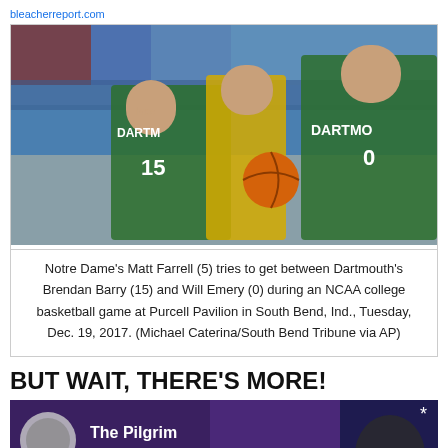bleacherreport.com
[Figure (photo): Basketball game photo: Notre Dame's Matt Farrell (5) tries to get between Dartmouth's Brendan Barry (15) and Will Emery (0) during an NCAA college basketball game at Purcell Pavilion in South Bend, Ind., Tuesday, Dec. 19, 2017.]
Notre Dame's Matt Farrell (5) tries to get between Dartmouth's Brendan Barry (15) and Will Emery (0) during an NCAA college basketball game at Purcell Pavilion in South Bend, Ind., Tuesday, Dec. 19, 2017. (Michael Caterina/South Bend Tribune via AP)
BUT WAIT, THERE'S MORE!
[Figure (photo): Bottom banner/advertisement with purple background showing partial images of people and text beginning with 'The Pilgrim...']